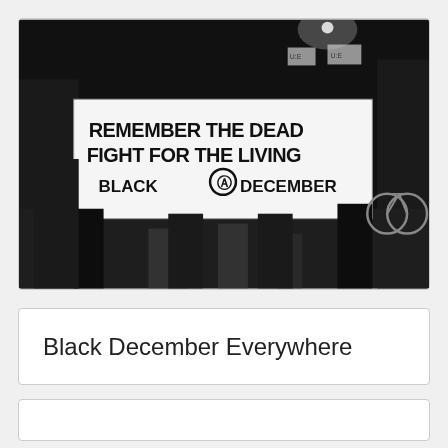[Figure (photo): Black and white photograph of protesters at night holding a large banner reading 'REMEMBER THE DEAD FIGHT FOR THE LIVING BLACK [anarchist circle-A symbol] DECEMBER']
Black December Everywhere